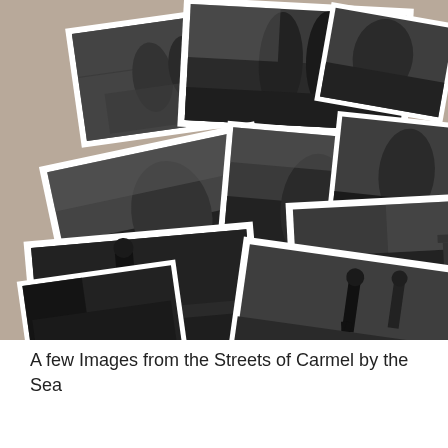[Figure (photo): A collage of black-and-white photographs scattered on a tan/beige background, depicting street scenes and people from Carmel by the Sea. Photos show people on sidewalks, street scenes with cars, benches, and outdoor settings.]
A few Images from the Streets of Carmel by the Sea